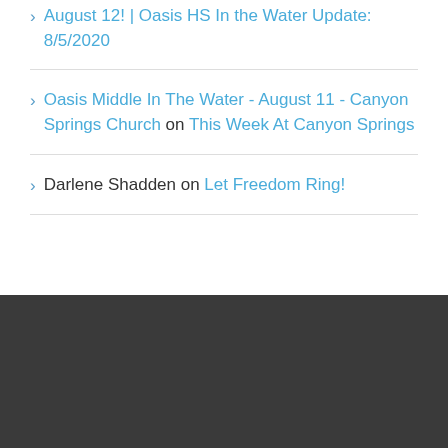August 12! | Oasis HS In the Water Update: 8/5/2020
Oasis Middle In The Water - August 11 - Canyon Springs Church on This Week At Canyon Springs
Darlene Shadden on Let Freedom Ring!